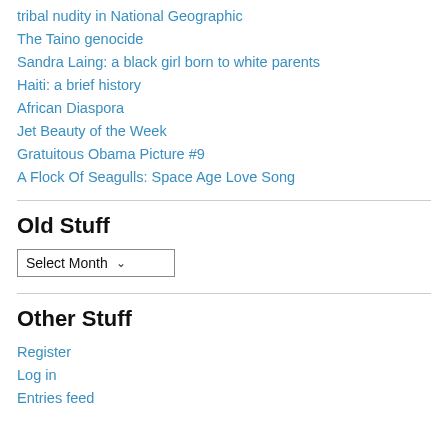tribal nudity in National Geographic
The Taino genocide
Sandra Laing: a black girl born to white parents
Haiti: a brief history
African Diaspora
Jet Beauty of the Week
Gratuitous Obama Picture #9
A Flock Of Seagulls: Space Age Love Song
Old Stuff
Select Month
Other Stuff
Register
Log in
Entries feed